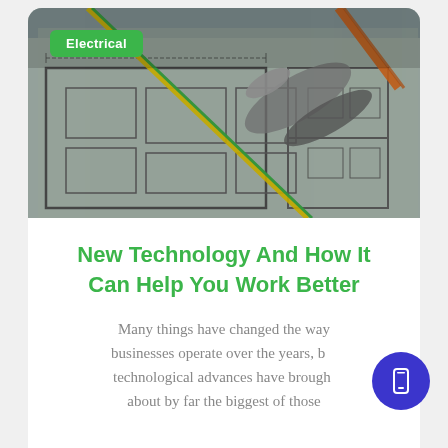[Figure (photo): Close-up photograph of electrical blueprint/schematic drawings with wires (green/yellow and orange) and pliers visible on top]
Electrical
New Technology And How It Can Help You Work Better
Many things have changed the way businesses operate over the years, but technological advances have brought about by far the biggest of those